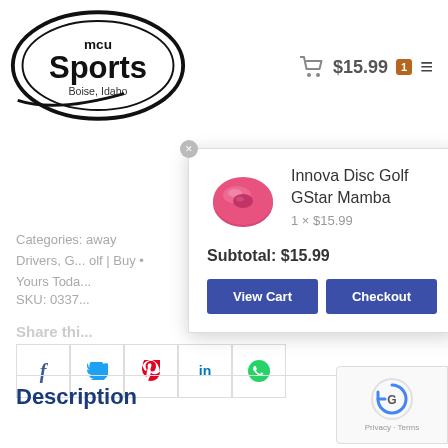[Figure (logo): MCU Sports Boise Idaho logo - black oval with bold text]
$15.99  1  ☰
Categories: ... away Drivers, G... olf | Buy • Yours Toda...
SKU: 0337...
[Figure (screenshot): Cart popup overlay showing Innova Disc Golf GStar Mamba product with pink disc image, quantity 1 x $15.99, subtotal $15.99, View Cart and Checkout buttons]
Share thi...
[Figure (infographic): Social sharing buttons: Facebook, Twitter, Pinterest, LinkedIn, WhatsApp]
Description